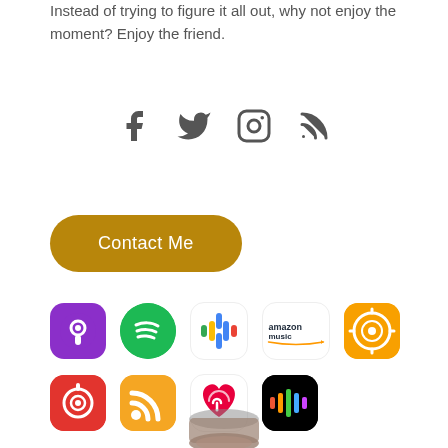Instead of trying to figure it all out, why not enjoy the moment? Enjoy the friend.
[Figure (infographic): Social media icons: Facebook, Twitter, Instagram, RSS]
[Figure (infographic): Contact Me button with golden/dark-yellow rounded rectangle]
[Figure (infographic): Podcast platform icons: Apple Podcasts, Spotify, Google Podcasts, Amazon Music, Overcast, Castbox, RSS, iHeartRadio, Stitcher]
[Figure (illustration): Partial illustration of a scroll or paper at the bottom of the page]